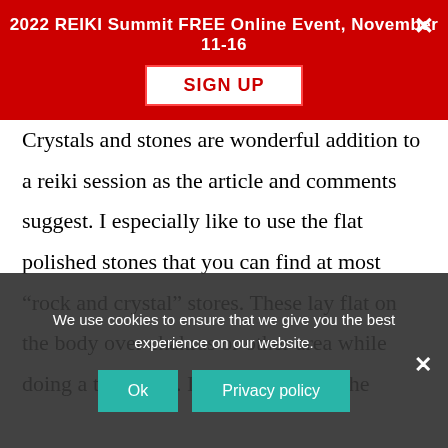2022 REIKI Summit FREE Online Event, November 11-16
SIGN UP
Crystals and stones are wonderful addition to a reiki session as the article and comments suggest. I especially like to use the flat polished stones that you can find at most “rock and crystal” stores. These lay flat on the body over chakras or other area while doing a treatment. I even like to use the ones embossed with the word (like love, strength, resilience, etc...) I make an intention with these
We use cookies to ensure that we give you the best experience on our website.
Ok
Privacy policy